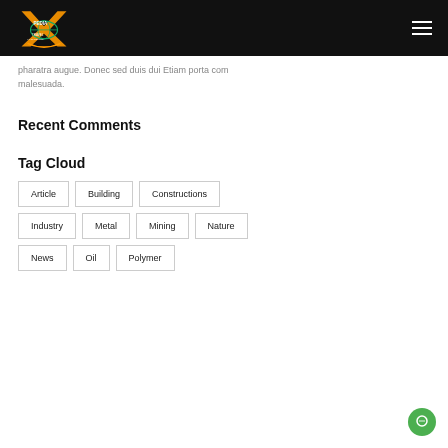Xpedia Travel Management
pharatra augue. Donec sed duis dui Etiam porta com malesuada.
Recent Comments
Tag Cloud
Article
Building
Constructions
Industry
Metal
Mining
Nature
News
Oil
Polymer